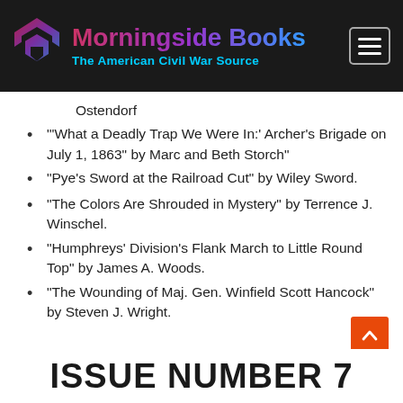Morningside Books — The American Civil War Source
Ostendorf
"'What a Deadly Trap We Were In:' Archer's Brigade on July 1, 1863" by Marc and Beth Storch"
"Pye's Sword at the Railroad Cut" by Wiley Sword.
"The Colors Are Shrouded in Mystery" by Terrence J. Winschel.
"Humphreys' Division's Flank March to Little Round Top" by James A. Woods.
"The Wounding of Maj. Gen. Winfield Scott Hancock" by Steven J. Wright.
ISSUE NUMBER 7